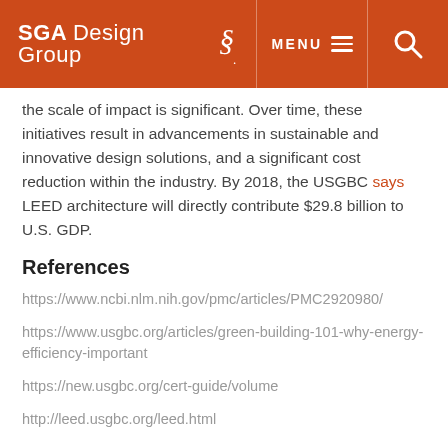SGA Design Group | MENU | [search]
the scale of impact is significant. Over time, these initiatives result in advancements in sustainable and innovative design solutions, and a significant cost reduction within the industry. By 2018, the USGBC says LEED architecture will directly contribute $29.8 billion to U.S. GDP.
References
https://www.ncbi.nlm.nih.gov/pmc/articles/PMC2920980/
https://www.usgbc.org/articles/green-building-101-why-energy-efficiency-important
https://new.usgbc.org/cert-guide/volume
http://leed.usgbc.org/leed.html